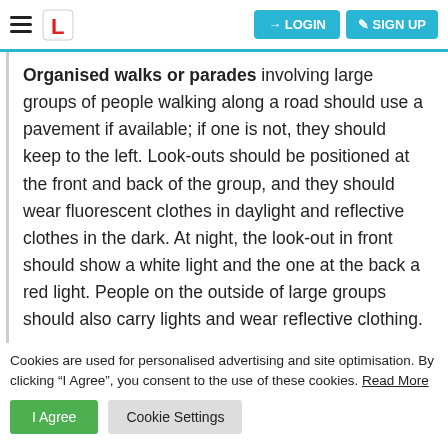LOGIN  SIGN UP
Organised walks or parades involving large groups of people walking along a road should use a pavement if available; if one is not, they should keep to the left. Look-outs should be positioned at the front and back of the group, and they should wear fluorescent clothes in daylight and reflective clothes in the dark. At night, the look-out in front should show a white light and the one at the back a red light. People on the outside of large groups should also carry lights and wear reflective clothing.
Cookies are used for personalised advertising and site optimisation. By clicking “I Agree”, you consent to the use of these cookies. Read More